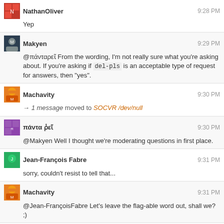NathanOliver 9:28 PM
Yep
Makyen 9:29 PM
@πάνταρεῖ From the wording, I'm not really sure what you're asking about. If you're asking if del-pls is an acceptable type of request for answers, then "yes".
Machavity 9:30 PM
→ 1 message moved to SOCVR /dev/null
πάντα ῥεῖ 9:30 PM
@Makyen Well I thought we're moderating questions in first place.
Jean-François Fabre 9:31 PM
sorry, couldn't resist to tell that...
Machavity 9:31 PM
@Jean-FrançoisFabre Let's leave the flag-able word out, shall we? ;)
Jean-François Fabre 9:31 PM
@πάνταρεῖ nope, we can request to delete answers too.
NathanOliver 9:31 PM
@πάνταρεῖ We moderate all teh thingz
πάντα ῥεῖ 9:32 PM
@NathanOliver Oki!